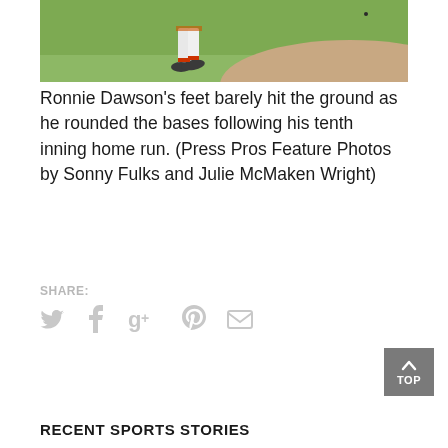[Figure (photo): Baseball player's feet and legs visible near the base path on a green grass field with a dirt infield visible in the lower right]
Ronnie Dawson's feet barely hit the ground as he rounded the bases following his tenth inning home run. (Press Pros Feature Photos by Sonny Fulks and Julie McMaken Wright)
SHARE:
Twitter, Facebook, Google+, Pinterest, Email share icons
TOP
RECENT SPORTS STORIES